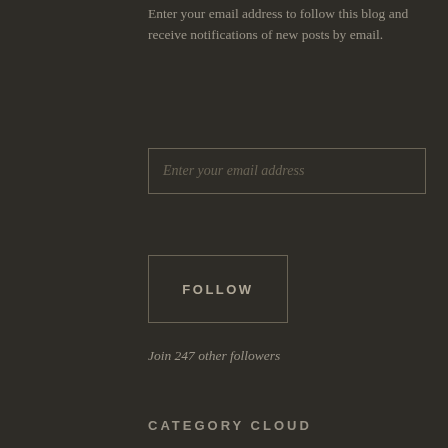Enter your email address to follow this blog and receive notifications of new posts by email.
Enter your email address
FOLLOW
Join 247 other followers
CATEGORY CLOUD
Animals
antiques
anxiety
Athens
Blogette
Christmas
England
Expat Life
Flying
Food